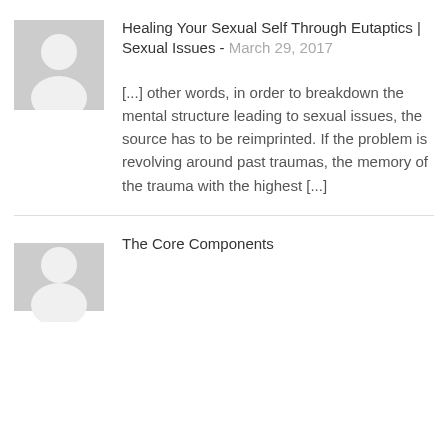[Figure (illustration): Gray placeholder avatar icon showing silhouette of a person]
Healing Your Sexual Self Through Eutaptics | Sexual Issues - March 29, 2017
[...] other words, in order to breakdown the mental structure leading to sexual issues, the source has to be reimprinted. If the problem is revolving around past traumas, the memory of the trauma with the highest [...]
[Figure (illustration): Gray placeholder avatar icon showing silhouette of a person (partial, bottom of page)]
The Core Components